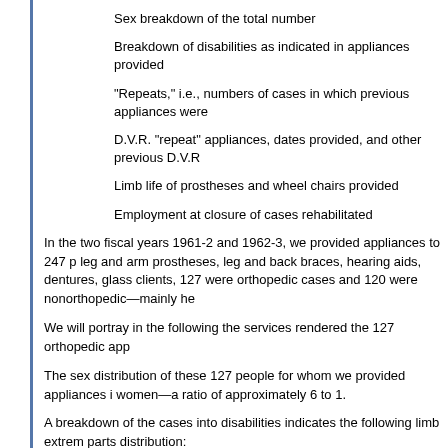Sex breakdown of the total number
Breakdown of disabilities as indicated in appliances provided
"Repeats," i.e., numbers of cases in which previous appliances were
D.V.R. "repeat" appliances, dates provided, and other previous D.V.R
Limb life of prostheses and wheel chairs provided
Employment at closure of cases rehabilitated
In the two fiscal years 1961-2 and 1962-3, we provided appliances to 247 p leg and arm prostheses, leg and back braces, hearing aids, dentures, glass clients, 127 were orthopedic cases and 120 were nonorthopedic—mainly he
We will portray in the following the services rendered the 127 orthopedic app
The sex distribution of these 127 people for whom we provided appliances i women—a ratio of approximately 6 to 1.
A breakdown of the cases into disabilities indicates the following limb extrem parts distribution:
One leg amputated A/K, B/K or foot—66;
Both legs amputated—4;
One arm amputation A/E, B/E, or hand—28;
Both arms—1